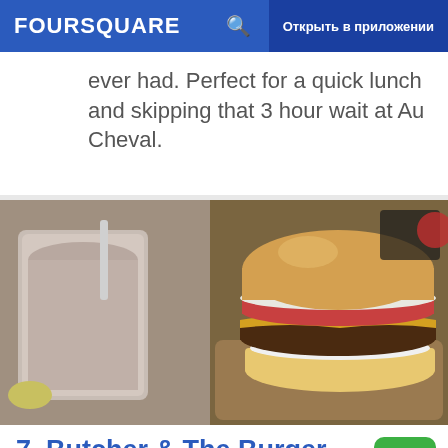FOURSQUARE | Открыть в приложении
ever had. Perfect for a quick lunch and skipping that 3 hour wait at Au Cheval.
[Figure (photo): Photo of a burger with melted cheese, tomato, white sauce on a bun, served on a wooden board, alongside a milkshake in a plastic cup]
7. Butcher & The Burger
9.0
1021 W Armitage Ave (at Kenmore Ave.), Чикаго, IL